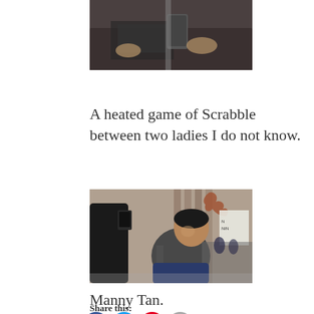[Figure (photo): Partial photo showing hands and a table, top portion of a Scrabble game scene]
A heated game of Scrabble between two ladies I do not know.
[Figure (photo): Outdoor photo of Manny Tan sitting in a chair at a table, smiling, while another person photographs him]
Manny Tan.
Share this: